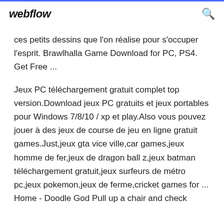webflow
ces petits dessins que l'on réalise pour s'occuper l'esprit. Brawlhalla Game Download for PC, PS4. Get Free ...
Jeux PC téléchargement gratuit complet top version.Download jeux PC gratuits et jeux portables pour Windows 7/8/10 / xp et play.Also vous pouvez jouer à des jeux de course de jeu en ligne gratuit games.Just,jeux gta vice ville,car games,jeux homme de fer,jeux de dragon ball z,jeux batman téléchargement gratuit,jeux surfeurs de métro pc,jeux pokemon,jeux de ferme,cricket games for ... Home - Doodle God Pull up a chair and check